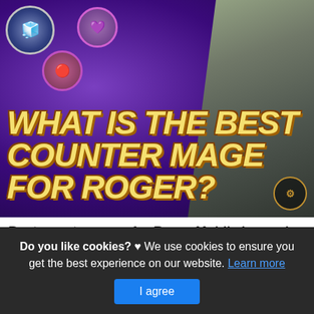[Figure (screenshot): Mobile Legends: Bang Bang game screenshot showing hero characters with purple background and large yellow italic text reading 'WHAT IS THE BEST COUNTER MAGE FOR ROGER?' with character portrait avatars and a game logo badge.]
Best counter mage for Roger Mobile Legends: Bang
This is actually a post or even photo approximately the Best counter mage for Roger Mobile Legends: Bang Bang
Do you like cookies? ♥ We use cookies to ensure you get the best experience on our website. Learn more